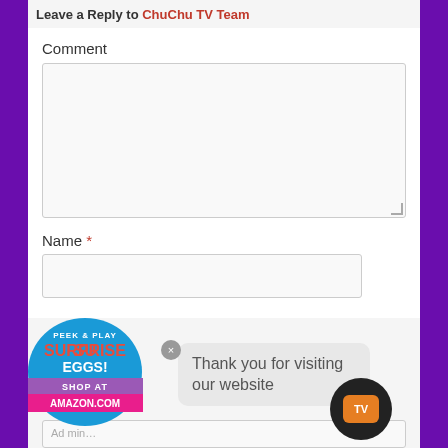Leave a Reply to ChuChu TV Team
Comment
Name *
[Figure (logo): Peek & Play Surprise Eggs Shop at Amazon.com circular badge advertisement with colorful text and blue/pink background]
Thank you for visiting our website
[Figure (logo): ChuChu TV icon - orange TV screen with TV text on black circular background]